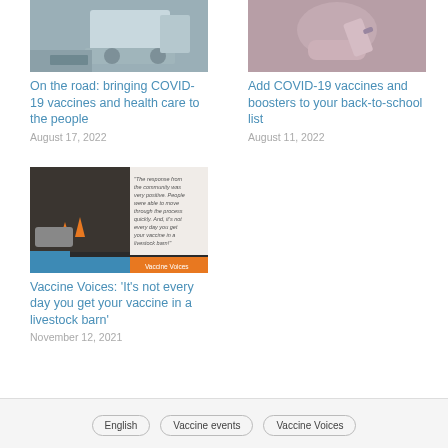[Figure (photo): Photo of a mobile health van on the road with people nearby]
On the road: bringing COVID-19 vaccines and health care to the people
August 17, 2022
[Figure (photo): Photo of a person receiving a COVID-19 vaccine injection in the arm]
Add COVID-19 vaccines and boosters to your back-to-school list
August 11, 2022
[Figure (screenshot): Screenshot of Vaccine Voices video showing a drive-through vaccination site in a livestock barn with quote overlay]
Vaccine Voices: 'It's not every day you get your vaccine in a livestock barn'
November 12, 2021
English
Vaccine events
Vaccine Voices